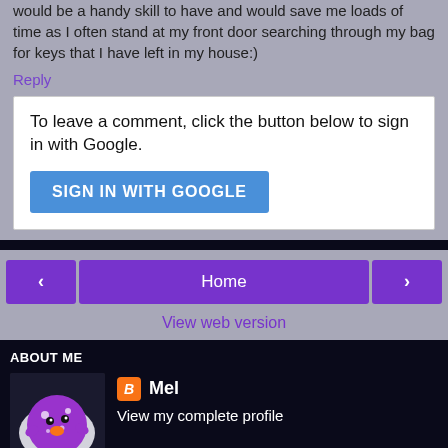would be a handy skill to have and would save me loads of time as I often stand at my front door searching through my bag for keys that I have left in my house:)
Reply
To leave a comment, click the button below to sign in with Google.
[Figure (screenshot): Blue SIGN IN WITH GOOGLE button]
[Figure (screenshot): Navigation bar with left arrow, Home button, and right arrow buttons]
View web version
ABOUT ME
[Figure (photo): Purple toy/figurine on white background - profile avatar for Mel]
Mel
View my complete profile
Powered by Blogger.